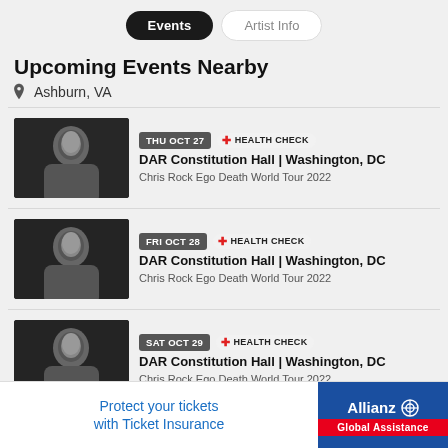Events | Artist Info
Upcoming Events Nearby
Ashburn, VA
THU OCT 27 | HEALTH CHECK | DAR Constitution Hall | Washington, DC | Chris Rock Ego Death World Tour 2022
FRI OCT 28 | HEALTH CHECK | DAR Constitution Hall | Washington, DC | Chris Rock Ego Death World Tour 2022
SAT OCT 29 | HEALTH CHECK | DAR Constitution Hall | Washington, DC | Chris Rock Ego Death World Tour 2022
[Figure (other): Advertisement banner: Protect your tickets with Ticket Insurance — Allianz Global Assistance]